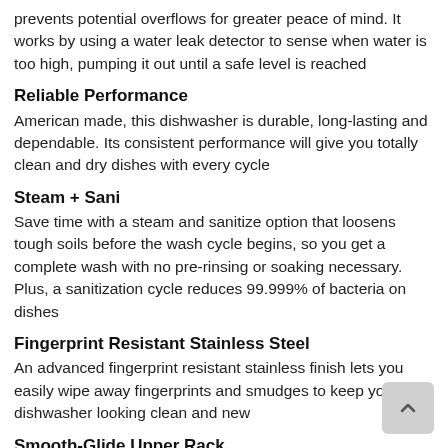prevents potential overflows for greater peace of mind. It works by using a water leak detector to sense when water is too high, pumping it out until a safe level is reached
Reliable Performance
American made, this dishwasher is durable, long-lasting and dependable. Its consistent performance will give you totally clean and dry dishes with every cycle
Steam + Sani
Save time with a steam and sanitize option that loosens tough soils before the wash cycle begins, so you get a complete wash with no pre-rinsing or soaking necessary. Plus, a sanitization cycle reduces 99.999% of bacteria on dishes
Fingerprint Resistant Stainless Steel
An advanced fingerprint resistant stainless finish lets you easily wipe away fingerprints and smudges to keep your dishwasher looking clean and new
Smooth-Glide Upper Rack
This dishwasher full-extension upper rack makes loading